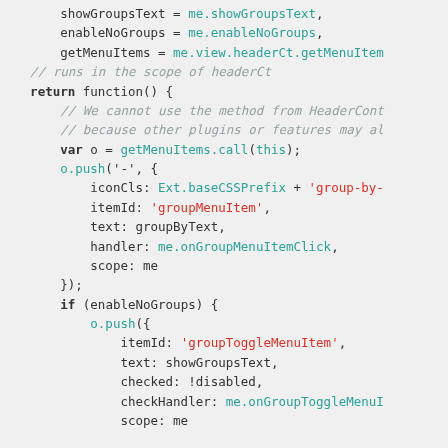[Figure (screenshot): Code screenshot showing JavaScript source code with syntax highlighting. Dark teal/cyan for object properties and method calls, red for string literals, bold for keywords like return, var, if. Light gray background. Code shows grouping menu items logic with getMenuItems, o.push calls, iconCls, itemId, text, handler, scope properties, and enableNoGroups conditional block.]